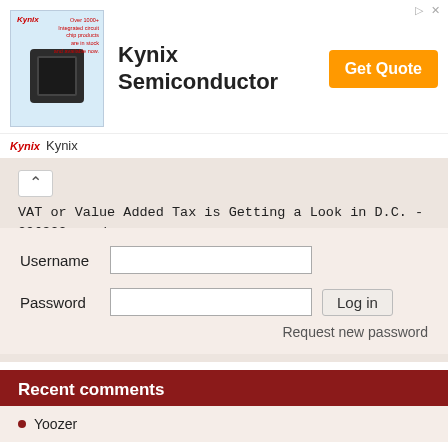[Figure (infographic): Kynix Semiconductor advertisement banner with chip image, brand name, tagline and Get Quote button]
VAT or Value Added Tax is Getting a Look in D.C. - 296322 reads
An Abbreviated Reading List for Undecided Economic Voters - 32319 reads
Too Many People - Too Little Work - 26198 reads
House discusses 401k/IRA confiscation - 268364 reads
Username
Password
Log in
Request new password
Recent comments
Yoozer